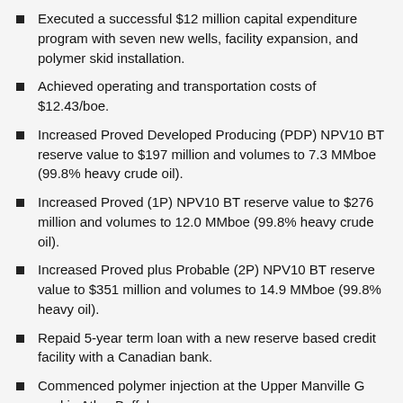Executed a successful $12 million capital expenditure program with seven new wells, facility expansion, and polymer skid installation.
Achieved operating and transportation costs of $12.43/boe.
Increased Proved Developed Producing (PDP) NPV10 BT reserve value to $197 million and volumes to 7.3 MMboe (99.8% heavy crude oil).
Increased Proved (1P) NPV10 BT reserve value to $276 million and volumes to 12.0 MMboe (99.8% heavy crude oil).
Increased Proved plus Probable (2P) NPV10 BT reserve value to $351 million and volumes to 14.9 MMboe (99.8% heavy oil).
Repaid 5-year term loan with a new reserve based credit facility with a Canadian bank.
Commenced polymer injection at the Upper Manville G pool in Atlee Buffalo.